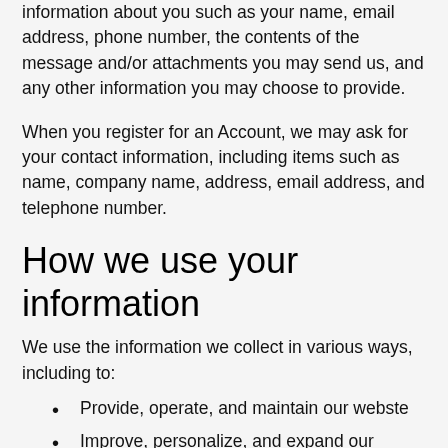information about you such as your name, email address, phone number, the contents of the message and/or attachments you may send us, and any other information you may choose to provide.
When you register for an Account, we may ask for your contact information, including items such as name, company name, address, email address, and telephone number.
How we use your information
We use the information we collect in various ways, including to:
Provide, operate, and maintain our webste
Improve, personalize, and expand our webste
Understand and analyze how you use our webste
Develop new products, services, features, and functionality